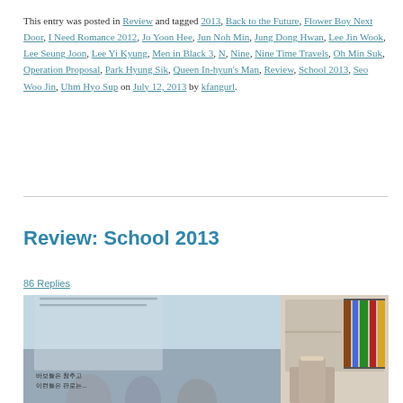This entry was posted in Review and tagged 2013, Back to the Future, Flower Boy Next Door, I Need Romance 2012, Jo Yoon Hee, Jun Noh Min, Jung Dong Hwan, Lee Jin Wook, Lee Seung Joon, Lee Yi Kyung, Men in Black 3, N, Nine, Nine Time Travels, Oh Min Suk, Operation Proposal, Park Hyung Sik, Queen In-hyun's Man, Review, School 2013, Seo Woo Jin, Uhm Hyo Sup on July 12, 2013 by kfangurl.
Review: School 2013
86 Replies
[Figure (photo): Two-panel image from School 2013: left panel shows a classroom or indoor scene with Korean text overlay reading approximately 바보들은 참주고 이런들은 판로는...; right panel shows a young man in a library or study room with bookshelves in the background.]